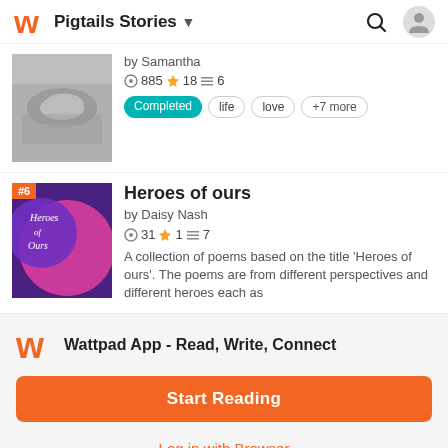Pigtails Stories
[Figure (screenshot): Story card: book cover (ring photo, black and white), by Samantha, stats 885 views 18 stars 6 parts, tags: Completed, life, love, +7 more]
[Figure (screenshot): Story card: Heroes of ours #6, book cover (purple and pink illustration), by Daisy Nash, stats 31 views 1 star 7 parts, description: A collection of poems based on the title 'Heroes of ours'. The poems are from different perspectives and different heroes each as]
Wattpad App - Read, Write, Connect
Start Reading
Log in with Browser